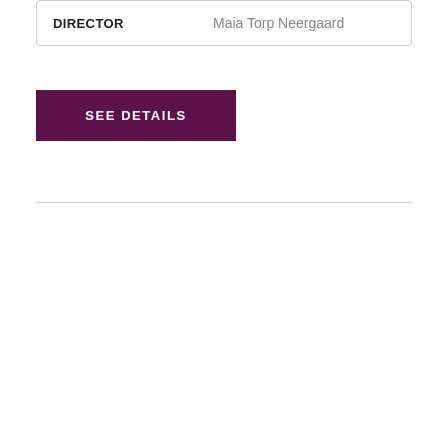| DIRECTOR |  |
| --- | --- |
| DIRECTOR | Maia Torp Neergaard |
SEE DETAILS